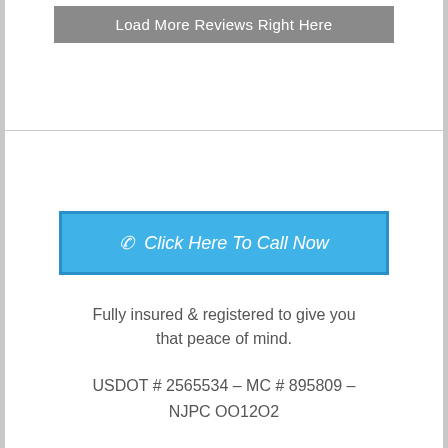Load More Reviews Right Here
Click Here To Call Now
Fully insured & registered to give you that peace of mind.
USDOT # 2565534 – MC # 895809 – NJPC OO12O2